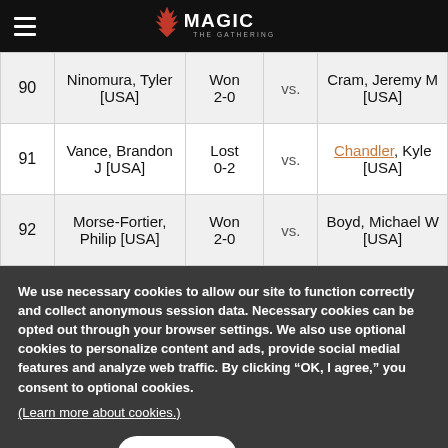Magic: The Gathering
| # | Player | Result | vs. | Opponent |
| --- | --- | --- | --- | --- |
| 90 | Ninomura, Tyler [USA] | Won 2-0 | vs. | Cram, Jeremy M [USA] |
| 91 | Vance, Brandon J [USA] | Lost 0-2 | vs. | Chandler, Kyle [USA] |
| 92 | Morse-Fortier, Philip [USA] | Won 2-0 | vs. | Boyd, Michael W [USA] |
We use necessary cookies to allow our site to function correctly and collect anonymous session data. Necessary cookies can be opted out through your browser settings. We also use optional cookies to personalize content and ads, provide social medial features and analyze web traffic. By clicking “OK, I agree,” you consent to optional cookies. (Learn more about cookies.)